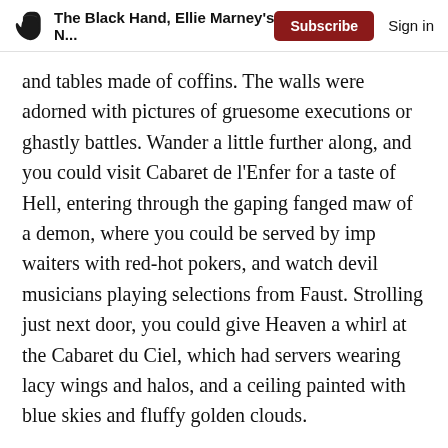The Black Hand, Ellie Marney's N... | Subscribe | Sign in
and tables made of coffins. The walls were adorned with pictures of gruesome executions or ghastly battles. Wander a little further along, and you could visit Cabaret de l’Enfer for a taste of Hell, entering through the gaping fanged maw of a demon, where you could be served by imp waiters with red-hot pokers, and watch devil musicians playing selections from Faust. Strolling just next door, you could give Heaven a whirl at the Cabaret du Ciel, which had servers wearing lacy wings and halos, and a ceiling painted with blue skies and fluffy golden clouds.
I mean, it sounds a bit like the worst kind of novelty theatre restaurant in existence? But apparently